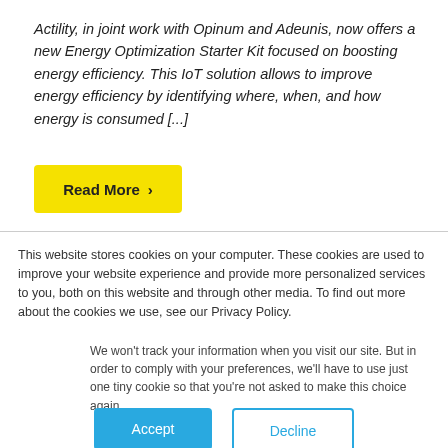Actility, in joint work with Opinum and Adeunis, now offers a new Energy Optimization Starter Kit focused on boosting energy efficiency. This IoT solution allows to improve energy efficiency by identifying where, when, and how energy is consumed [...]
Read More >
This website stores cookies on your computer. These cookies are used to improve your website experience and provide more personalized services to you, both on this website and through other media. To find out more about the cookies we use, see our Privacy Policy.
We won't track your information when you visit our site. But in order to comply with your preferences, we'll have to use just one tiny cookie so that you're not asked to make this choice again.
Accept
Decline